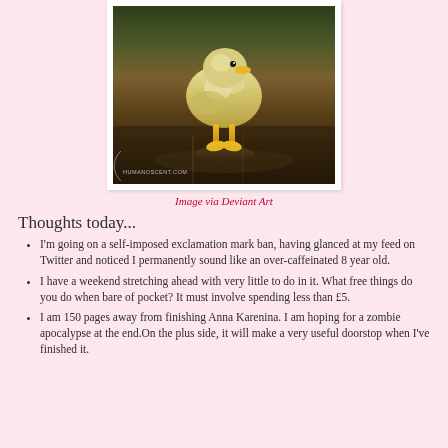[Figure (photo): A baby duckling (chick) with yellow fluffy body and yellow feet standing on a reflective dark wooden surface. A watermark reading 'HUMANOSCENT.COM' is visible in the lower left corner.]
Image via Deviant Art
Thoughts today...
I'm going on a self-imposed exclamation mark ban, having glanced at my feed on Twitter and noticed I permanently sound like an over-caffeinated 8 year old.
I have a weekend stretching ahead with very little to do in it. What free things do you do when bare of pocket? It must involve spending less than £5.
I am 150 pages away from finishing Anna Karenina. I am hoping for a zombie apocalypse at the end.On the plus side, it will make a very useful doorstop when I've finished it.